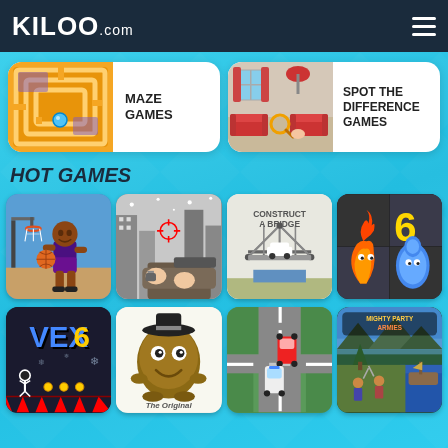KILOO.com
[Figure (screenshot): Maze Games category card with maze game thumbnail]
MAZE GAMES
[Figure (screenshot): Spot the Difference Games category card with living room thumbnail]
SPOT THE DIFFERENCE GAMES
HOT GAMES
[Figure (screenshot): Basketball game thumbnail]
[Figure (screenshot): FPS shooting game thumbnail]
[Figure (screenshot): Construct A Bridge game thumbnail]
[Figure (screenshot): Fireboy and Watergirl 6 game thumbnail]
[Figure (screenshot): VEX 6 game thumbnail]
[Figure (screenshot): POU The Original game thumbnail]
[Figure (screenshot): Car racing/traffic game thumbnail]
[Figure (screenshot): Mighty Party Armies game thumbnail]